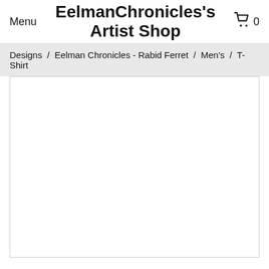Menu  EelmanChronicles's Artist Shop  0
Designs / Eelman Chronicles - Rabid Ferret / Men's / T-Shirt
[Figure (other): White empty product image area with border]